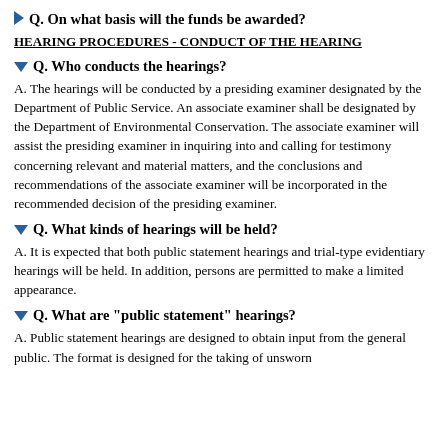Q. On what basis will the funds be awarded?
HEARING PROCEDURES - CONDUCT OF THE HEARING
Q. Who conducts the hearings?
A. The hearings will be conducted by a presiding examiner designated by the Department of Public Service. An associate examiner shall be designated by the Department of Environmental Conservation. The associate examiner will assist the presiding examiner in inquiring into and calling for testimony concerning relevant and material matters, and the conclusions and recommendations of the associate examiner will be incorporated in the recommended decision of the presiding examiner.
Q. What kinds of hearings will be held?
A. It is expected that both public statement hearings and trial-type evidentiary hearings will be held. In addition, persons are permitted to make a limited appearance.
Q. What are "public statement" hearings?
A. Public statement hearings are designed to obtain input from the general public. The format is designed for the taking of unsworn